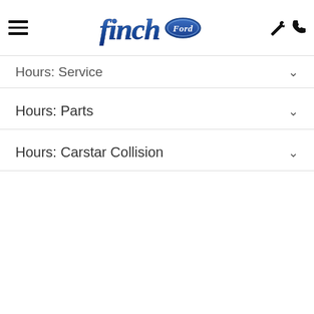[Figure (logo): Finch Ford dealership logo: cursive 'finch' text in blue with Ford oval badge]
Hours: Service
Hours: Parts
Hours: Carstar Collision